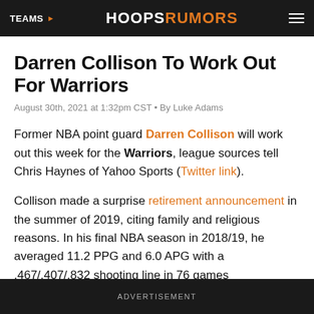TEAMS   HOOPSRUMORS
Darren Collison To Work Out For Warriors
August 30th, 2021 at 1:32pm CST • By Luke Adams
Former NBA point guard Darren Collison will work out this week for the Warriors, league sources tell Chris Haynes of Yahoo Sports (Twitter link).
Collison made a surprise retirement announcement in the summer of 2019, citing family and religious reasons. In his final NBA season in 2018/19, he averaged 11.2 PPG and 6.0 APG with a .467/.407/.832 shooting line in 76 games
ADVERTISEMENT